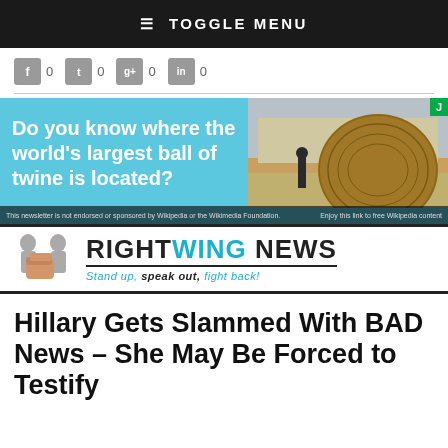≡ TOGGLE MENU
[Figure (screenshot): Social share buttons row: Facebook (0), Twitter (0), Google+ (0), LinkedIn (0)]
[Figure (photo): Advertisement banner: 'Do you know where the world's largest ball of twine is located?' with photo of large ball of twine. Disclaimer: This newsletter is not endorsed or sponsored by Wikipedia or the Wikimedia Foundation. Enjoy this link to free Wikipedia content.]
[Figure (logo): Right Wing News logo: silhouette figures with fist graphic, text RIGHTWING NEWS in bold with WING in cyan, tagline 'Stand up, speak out, fight back!']
Hillary Gets Slammed With BAD News – She May Be Forced to Testify